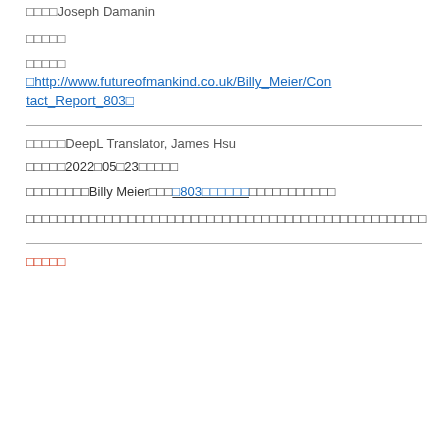□□□□Joseph Damanin
□□□□□
□□□□□
□http://www.futureofmankind.co.uk/Billy_Meier/Contact_Report_803□
□□□□□DeepL Translator, James Hsu
□□□□□2022□05□23□□□□□
□□□□□□□□Billy Meier□□□□803□□□□□□□□□□□□□□
□□□□□□□□□□□□□□□□□□□□□□□□□□□□□□□□□□□□□□□□□□□□□□□□□
□□□□□